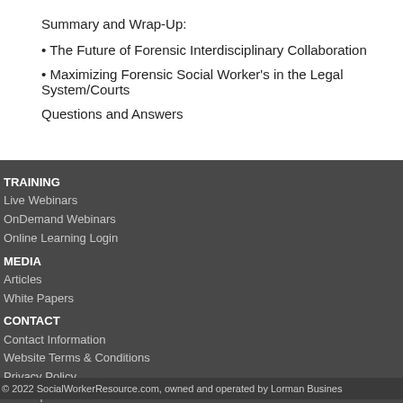Summary and Wrap-Up:
• The Future of Forensic Interdisciplinary Collaboration
• Maximizing Forensic Social Worker's in the Legal System/Courts
Questions and Answers
TRAINING
Live Webinars
OnDemand Webinars
Online Learning Login
MEDIA
Articles
White Papers
CONTACT
Contact Information
Website Terms & Conditions
Privacy Policy
Sitemap
FAQ
Sponsorship and Advertising
© 2022 SocialWorkerResource.com, owned and operated by Lorman Busines